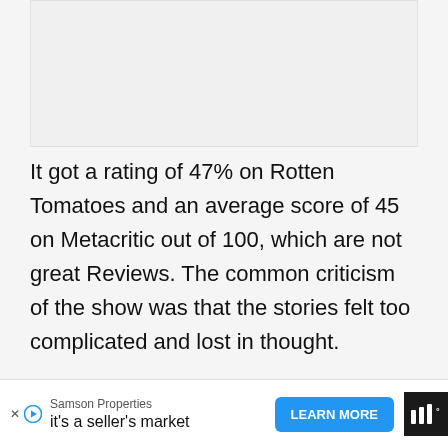[Figure (other): Empty image placeholder area at the top of the page]
It got a rating of 47% on Rotten Tomatoes and an average score of 45 on Metacritic out of 100, which are not great Reviews. The common criticism of the show was that the stories felt too complicated and lost in thought.
The Conclusion
Samson Properties it's a seller's market LEARN MORE